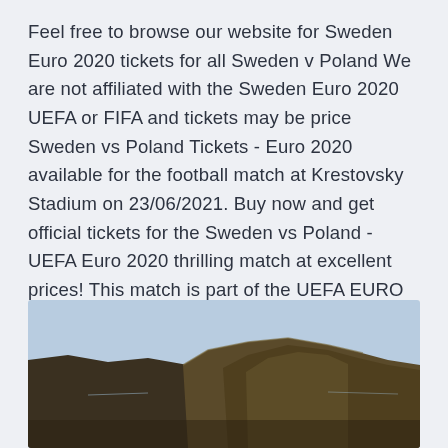Feel free to browse our website for Sweden Euro 2020 tickets for all Sweden v Poland We are not affiliated with the Sweden Euro 2020 UEFA or FIFA and tickets may be price Sweden vs Poland Tickets - Euro 2020 available for the football match at Krestovsky Stadium on 23/06/2021. Buy now and get official tickets for the Sweden vs Poland - UEFA Euro 2020 thrilling match at excellent prices! This match is part of the UEFA EURO 2020 games,  All prices already include VAT. Sichere Online-Buchung mit 128 SSL. Tausende von zufriedenen Kunden.
[Figure (photo): A photograph of rocky coastal cliffs with the sea visible in the background and a light blue sky.]